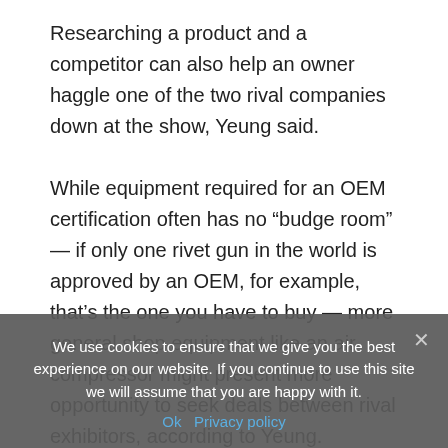Researching a product and a competitor can also help an owner haggle one of the two rival companies down at the show, Yeung said.

While equipment required for an OEM certification often has no “budge room” — if only one rivet gun in the world is approved by an OEM, for example, that’s the one you have to buy — more general shop equipment like an air compressor might present more opportunity to seek deals between rival exhibitors, according to Yeung.
We use cookies to ensure that we give you the best experience on our website. If you continue to use this site we will assume that you are happy with it.
Ok   Privacy policy